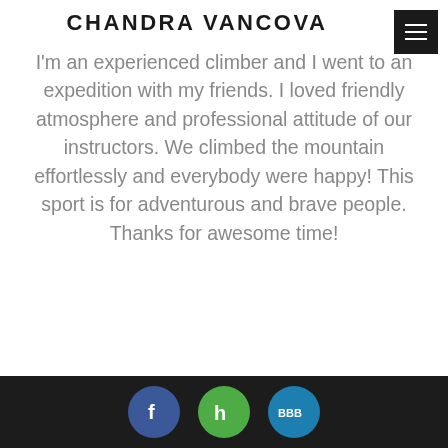CHANDRA VANCOVA
I'm an experienced climber and I went to an expedition with my friends. I loved friendly atmosphere and professional attitude of our instructors. We climbed the mountain effortlessly and everybody were happy! This sport is for adventurous and brave people. Thanks for awesome time!
Footer with social icons: Facebook, Houzz, BBB